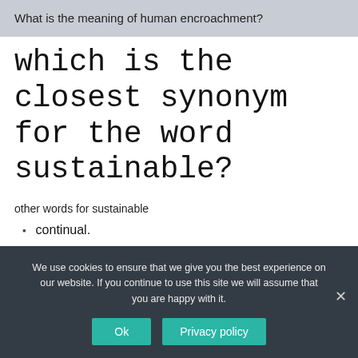What is the meaning of human encroachment?
which is the closest synonym for the word sustainable?
other words for sustainable
continual.
continuous.
viable.
feasible.
We use cookies to ensure that we give you the best experience on our website. If you continue to use this site we will assume that you are happy with it.